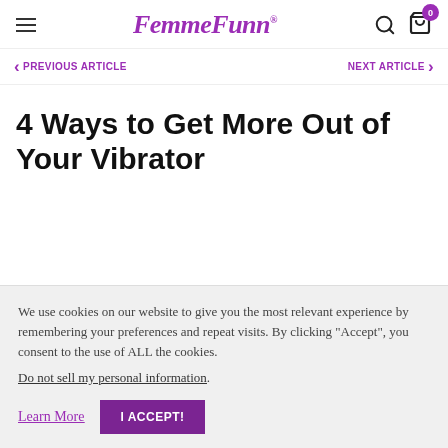FemmeFunn®
PREVIOUS ARTICLE   NEXT ARTICLE
4 Ways to Get More Out of Your Vibrator
We use cookies on our website to give you the most relevant experience by remembering your preferences and repeat visits. By clicking "Accept", you consent to the use of ALL the cookies. Do not sell my personal information.
Learn More   I ACCEPT!